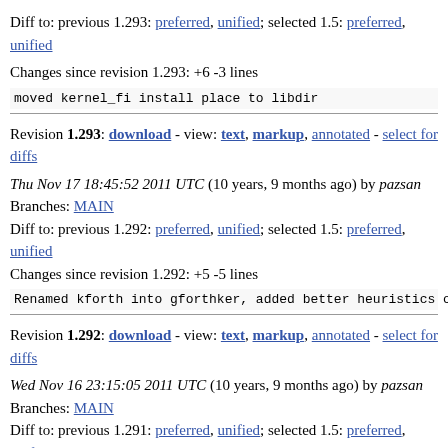Diff to: previous 1.293: preferred, unified; selected 1.5: preferred, unified
Changes since revision 1.293: +6 -3 lines
moved kernel_fi install place to libdir
Revision 1.293: download - view: text, markup, annotated - select for diffs
Thu Nov 17 18:45:52 2011 UTC (10 years, 9 months ago) by pazsan
Branches: MAIN
Diff to: previous 1.292: preferred, unified; selected 1.5: preferred, unified
Changes since revision 1.292: +5 -5 lines
Renamed kforth into gforthker, added better heuristics on
Revision 1.292: download - view: text, markup, annotated - select for diffs
Wed Nov 16 23:15:05 2011 UTC (10 years, 9 months ago) by pazsan
Branches: MAIN
Diff to: previous 1.291: preferred, unified; selected 1.5: preferred, unified
Changes since revision 1.291: +23 -16 lines